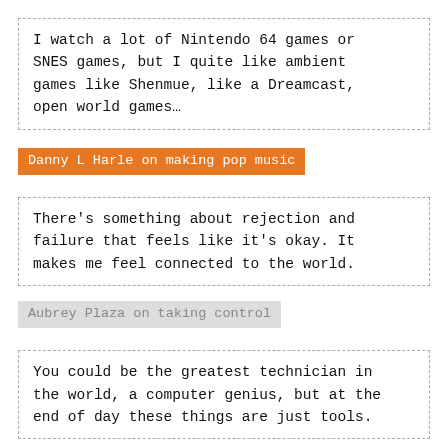I watch a lot of Nintendo 64 games or SNES games, but I quite like ambient games like Shenmue, like a Dreamcast, open world games…
Danny L Harle on making pop music
There's something about rejection and failure that feels like it's okay. It makes me feel connected to the world.
Aubrey Plaza on taking control
You could be the greatest technician in the world, a computer genius, but at the end of day these things are just tools.